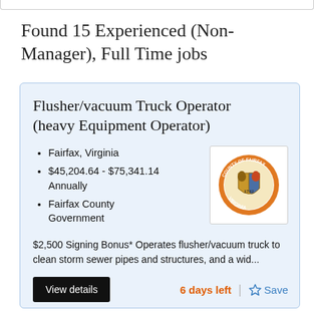Found 15 Experienced (Non-Manager), Full Time jobs
Flusher/vacuum Truck Operator (heavy Equipment Operator)
Fairfax, Virginia
$45,204.64 - $75,341.14 Annually
Fairfax County Government
[Figure (logo): Fairfax County Government seal/logo — circular orange and gold county seal on white background]
$2,500 Signing Bonus* Operates flusher/vacuum truck to clean storm sewer pipes and structures, and a wid...
View details
6 days left
Save